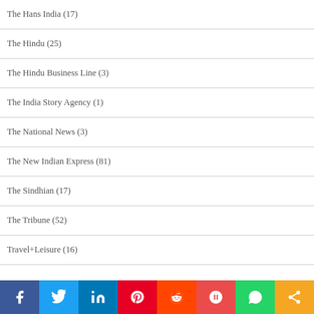The Hans India (17)
The Hindu (25)
The Hindu Business Line (3)
The India Story Agency (1)
The National News (3)
The New Indian Express (81)
The Sindhian (17)
The Tribune (52)
Travel+Leisure (16)